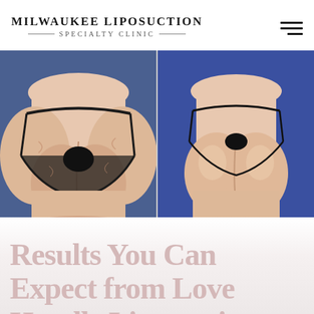MILWAUKEE LIPOSUCTION SPECIALTY CLINIC
[Figure (photo): Before and after comparison photos showing two posterior views of a patient's lower body/buttocks area. Left panel shows before liposuction results, right panel shows after results. Both photos have blue backgrounds. Patient is wearing black underwear.]
Results You Can Expect from Love Handle Liposuction
[Figure (other): Live chat widget with pill-shaped button containing 'LIVE CHAT' in pink and 'START NOW' in bold black, with a circular avatar photo of a woman's face on the right side.]